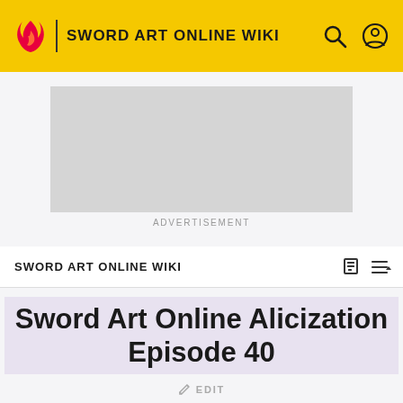SWORD ART ONLINE WIKI
[Figure (other): Advertisement placeholder — grey rectangle]
ADVERTISEMENT
SWORD ART ONLINE WIKI
Sword Art Online Alicization Episode 40
EDIT